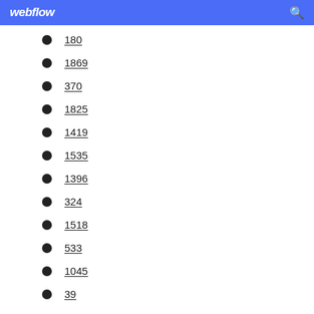webflow
180
1869
370
1825
1419
1535
1396
324
1518
533
1045
39